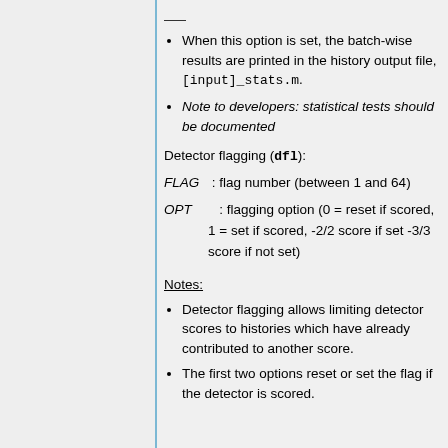When this option is set, the batch-wise results are printed in the history output file, [input]_stats.m.
Note to developers: statistical tests should be documented
Detector flagging (dfl):
FLAG  : flag number (between 1 and 64)
OPT  : flagging option (0 = reset if scored, 1 = set if scored, -2/2 score if set -3/3 score if not set)
Notes:
Detector flagging allows limiting detector scores to histories which have already contributed to another score.
The first two options reset or set the flag if the detector is scored.